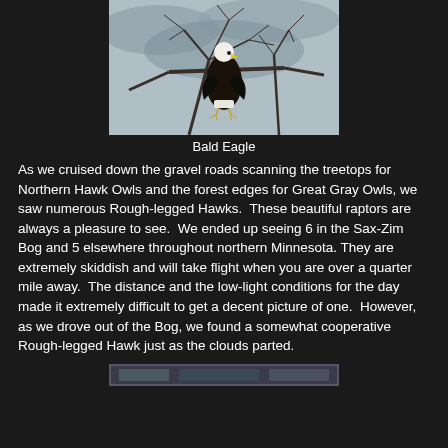[Figure (photo): Bald Eagle perched on bare tree branches against a grey overcast sky]
Bald Eagle
As we cruised down the gravel roads scanning the treetops for Northern Hawk Owls and the forest edges for Great Gray Owls, we saw numerous Rough-legged Hawks.  These beautiful raptors are always a pleasure to see.  We ended up seeing 6 in the Sax-Zim Bog and 5 elsewhere throughout northern Minnesota. They are extremely skiddish and will take flight when you are over a quarter mile away.  The distance and the low-light conditions for the day made it extremely difficult to get a decent picture of one.  However, as we drove out of the Bog, we found a somewhat cooperative Rough-legged Hawk just as the clouds parted.
[Figure (photo): Partial view of another bird photo at the bottom of the page]